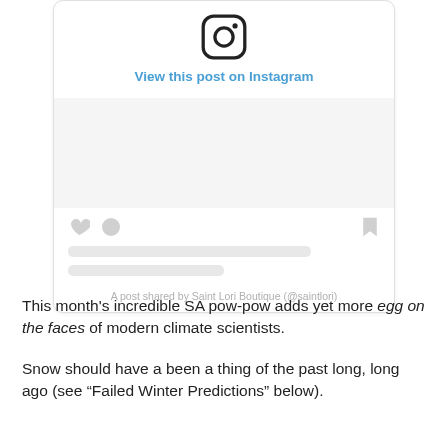[Figure (screenshot): Instagram embed widget showing the Instagram logo icon, a 'View this post on Instagram' link in blue, a gray photo placeholder area, like/comment/bookmark icons, skeleton loading lines, and attribution text 'A post shared by Saint Lori Boutique (@saintlori)']
This month's incredible SA pow-pow adds yet more egg on the faces of modern climate scientists.
Snow should have a been a thing of the past long, long ago (see “Failed Winter Predictions” below).